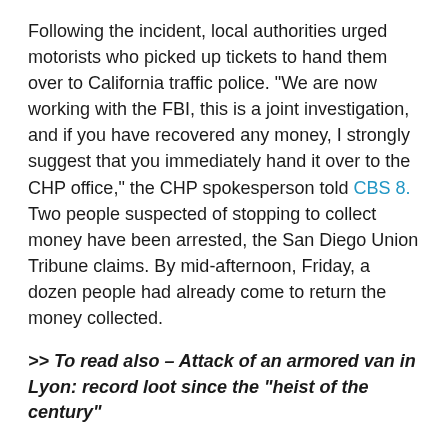Following the incident, local authorities urged motorists who picked up tickets to hand them over to California traffic police. "We are now working with the FBI, this is a joint investigation, and if you have recovered any money, I strongly suggest that you immediately hand it over to the CHP office," the CHP spokesperson told CBS 8. Two people suspected of stopping to collect money have been arrested, the San Diego Union Tribune claims. By mid-afternoon, Friday, a dozen people had already come to return the money collected.
>> To read also – Attack of an armored van in Lyon: record loot since the "heist of the century"
In a statement Friday night, CHP officer Mary Bailey thanked those who had already returned the money and issued a warning: "Several photos and videos posted on social media captured faces and license plates on the